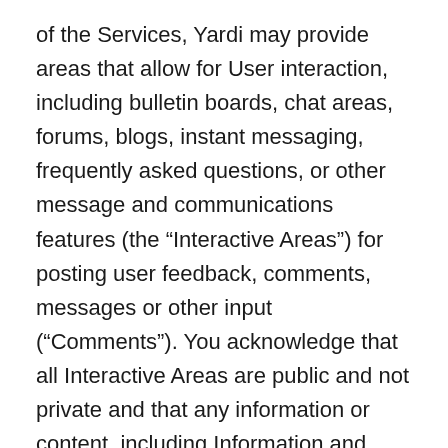of the Services, Yardi may provide areas that allow for User interaction, including bulletin boards, chat areas, forums, blogs, instant messaging, frequently asked questions, or other message and communications features (the “Interactive Areas”) for posting user feedback, comments, messages or other input (“Comments”). You acknowledge that all Interactive Areas are public and not private and that any information or content, including Information and Material, that you post to an Interactive Area may be read by others and that Yardi has no obligation to protect such information. Yardi recommends that you do not post or otherwise disseminate any personally identifiable information in the Interactive Area. Additionally, you agree to post only Comments that are proper, lawful, and related to the particular discussion or